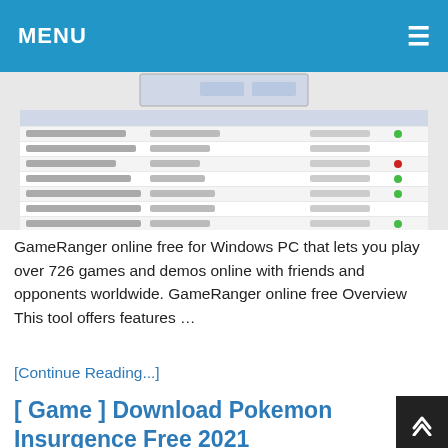MENU
[Figure (screenshot): Screenshot of GameRanger software showing a list of games with player counts and status indicators]
GameRanger online free for Windows PC that lets you play over 726 games and demos online with friends and opponents worldwide. GameRanger online free Overview This tool offers features …
[Continue Reading...]
[ Game ] Download Pokemon Insurgence Free 2021
No1   Games
[Figure (screenshot): Screenshot showing Pokemon Insurgence game with Haxorus at Lv100 and a background with yellow and black caution tape pattern with chains]